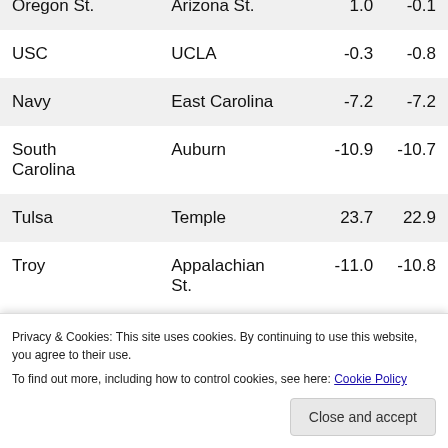| Team | Opponent | Col3 | Col4 |
| --- | --- | --- | --- |
| Oregon St. | Arizona St. | 1.0 | -0.1 |
| USC | UCLA | -0.3 | -0.8 |
| Navy | East Carolina | -7.2 | -7.2 |
| South Carolina | Auburn | -10.9 | -10.7 |
| Tulsa | Temple | 23.7 | 22.9 |
| Troy | Appalachian St. | -11.0 | -10.8 |
Privacy & Cookies: This site uses cookies. By continuing to use this website, you agree to their use. To find out more, including how to control cookies, see here: Cookie Policy